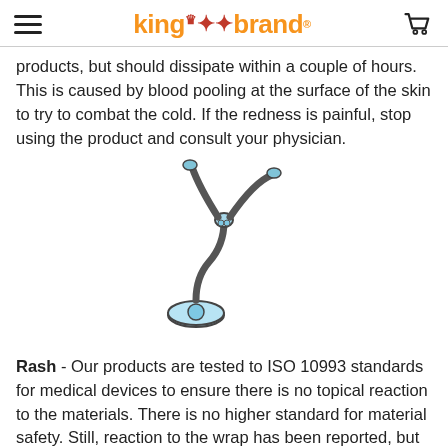king brand
products, but should dissipate within a couple of hours. This is caused by blood pooling at the surface of the skin to try to combat the cold. If the redness is painful, stop using the product and consult your physician.
[Figure (illustration): Illustration of a medical stethoscope with a light blue chest piece and dark gray tubing.]
Rash - Our products are tested to ISO 10993 standards for medical devices to ensure there is no topical reaction to the materials. There is no higher standard for material safety. Still, reaction to the wrap has been reported, but the frequency of this happening is very rare. If a rash appears